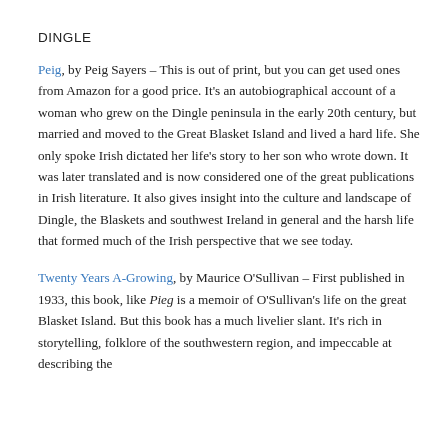DINGLE
Peig, by Peig Sayers – This is out of print, but you can get used ones from Amazon for a good price. It's an autobiographical account of a woman who grew on the Dingle peninsula in the early 20th century, but married and moved to the Great Blasket Island and lived a hard life. She only spoke Irish dictated her life's story to her son who wrote down. It was later translated and is now considered one of the great publications in Irish literature. It also gives insight into the culture and landscape of Dingle, the Blaskets and southwest Ireland in general and the harsh life that formed much of the Irish perspective that we see today.
Twenty Years A-Growing, by Maurice O'Sullivan – First published in 1933, this book, like Pieg is a memoir of O'Sullivan's life on the great Blasket Island. But this book has a much livelier slant. It's rich in storytelling, folklore of the southwestern region, and impeccable at describing the